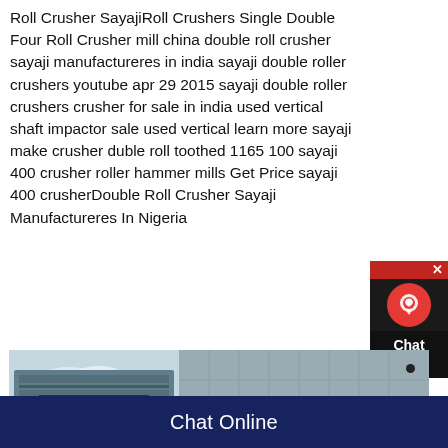Roll Crusher SayajiRoll Crushers Single Double Four Roll Crusher mill china double roll crusher sayaji manufactureres in india sayaji double roller crushers youtube apr 29 2015 sayaji double roller crushers crusher for sale in india used vertical shaft impactor sale used vertical learn more sayaji make crusher duble roll toothed 1165 100 sayaji 400 crusher roller hammer mills Get Price sayaji 400 crusherDouble Roll Crusher Sayaji Manufactureres In Nigeria
[Figure (screenshot): Chat Now widget in top-right area with red X button, dark background with red circle icon and Chat Now label]
[Figure (photo): Photograph of a large industrial roll crusher / milling machine in an outdoor/factory setting. The machine is gray-blue, large, with industrial building facade visible in background.]
Chat Online